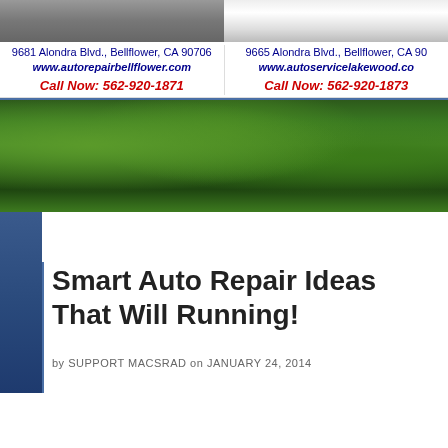[Figure (photo): Top banner with two side-by-side photos: left shows a road/pavement, right shows a white car in motion]
9681 Alondra Blvd., Bellflower, CA 90706
9665 Alondra Blvd., Bellflower, CA 90
www.autorepairbellflower.com
www.autoservicelakewood.co
Call Now: 562-920-1871
Call Now: 562-920-1873
[Figure (photo): Wide green hedge/bushes banner image]
Smart Auto Repair Ideas That Will Running!
by SUPPORT MACSRAD on JANUARY 24, 2014